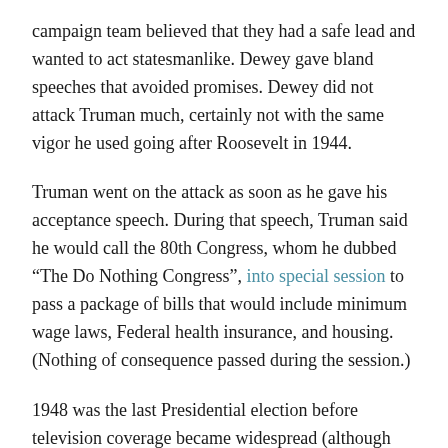campaign team believed that they had a safe lead and wanted to act statesmanlike. Dewey gave bland speeches that avoided promises. Dewey did not attack Truman much, certainly not with the same vigor he used going after Roosevelt in 1944.
Truman went on the attack as soon as he gave his acceptance speech. During that speech, Truman said he would call the 80th Congress, whom he dubbed “The Do Nothing Congress”, into special session to pass a package of bills that would include minimum wage laws, Federal health insurance, and housing. (Nothing of consequence passed during the session.)
1948 was the last Presidential election before television coverage became widespread (although TV did exist). This worked to Truman’s advantage as he could travel the